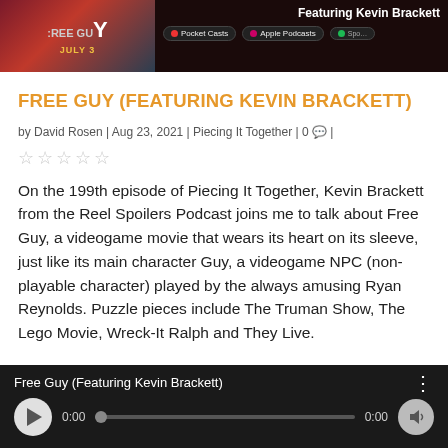[Figure (screenshot): Banner showing Free Guy movie poster on the left with 'JULY 3' subtitle, and podcast listing on the right with 'Featuring Kevin Brackett' text and podcast platform icons including Pocket Casts and Apple Podcasts]
FREE GUY (FEATURING KEVIN BRACKETT)
by David Rosen | Aug 23, 2021 | Piecing It Together | 0 💬 |
☆☆☆☆☆
On the 199th episode of Piecing It Together, Kevin Brackett from the Reel Spoilers Podcast joins me to talk about Free Guy, a videogame movie that wears its heart on its sleeve, just like its main character Guy, a videogame NPC (non-playable character) played by the always amusing Ryan Reynolds. Puzzle pieces include The Truman Show, The Lego Movie, Wreck-It Ralph and They Live.
[Figure (screenshot): Audio player widget with dark background showing 'Free Guy (Featuring Kevin Brackett)' title, play button, progress bar at 0:00, and speaker icon]